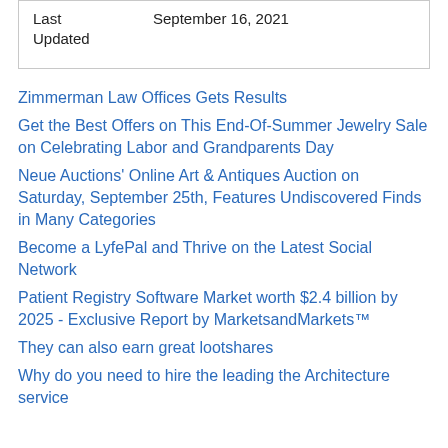| Last Updated | September 16, 2021 |
Zimmerman Law Offices Gets Results
Get the Best Offers on This End-Of-Summer Jewelry Sale on Celebrating Labor and Grandparents Day
Neue Auctions' Online Art & Antiques Auction on Saturday, September 25th, Features Undiscovered Finds in Many Categories
Become a LyfePal and Thrive on the Latest Social Network
Patient Registry Software Market worth $2.4 billion by 2025 - Exclusive Report by MarketsandMarkets™
They can also earn great lootshares
Why do you need to hire the leading the Architecture service